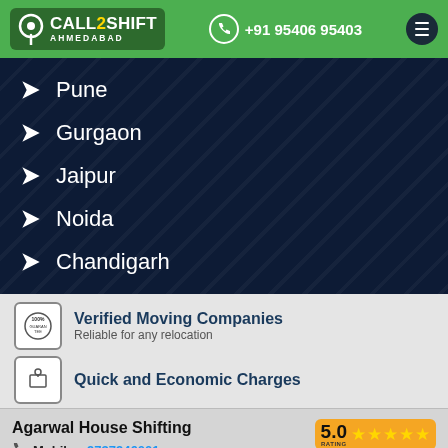CALL2SHIFT AHMEDABAD | +91 95406 95403
Pune
Gurgaon
Jaipur
Noida
Chandigarh
Verified Moving Companies — Reliable for any relocation
Quick and Economic Charges
Agarwal House Shifting
Mobile - 9737946001
www.agarwalhouseshifting.com
5.0 RATING ★★★★★
View Profile
QUICK ENQUIRY